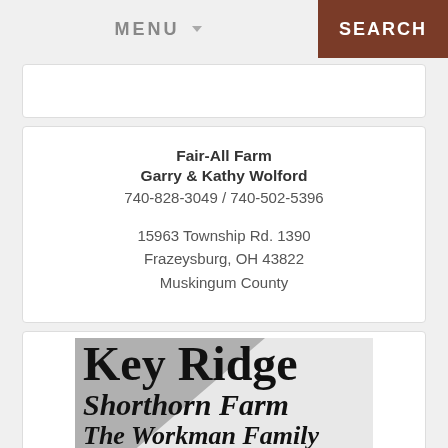MENU  SEARCH
Fair-All Farm
Garry & Kathy Wolford
740-828-3049 / 740-502-5396

15963 Township Rd. 1390
Frazeysburg, OH 43822
Muskingum County
[Figure (logo): Key Ridge Shorthorn Farm logo with triangle graphic and text: Key Ridge / Shorthorn Farm / The Workman Family]